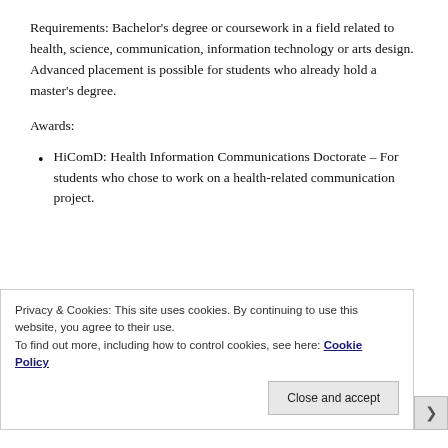Requirements: Bachelor's degree or coursework in a field related to health, science, communication, information technology or arts design. Advanced placement is possible for students who already hold a master's degree.
Awards:
HiComD: Health Information Communications Doctorate – For students who chose to work on a health-related communication project.
Privacy & Cookies: This site uses cookies. By continuing to use this website, you agree to their use.
To find out more, including how to control cookies, see here: Cookie Policy